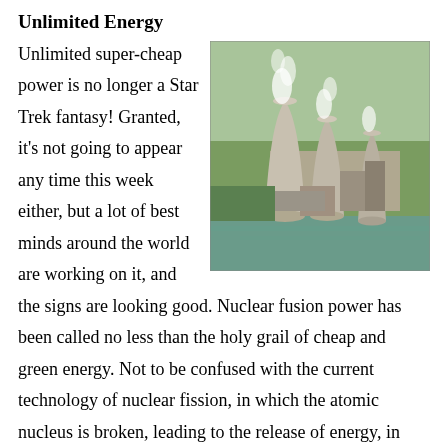Unlimited Energy
[Figure (photo): Aerial photograph of a nuclear power plant with large cooling towers emitting steam, situated along a river surrounded by green fields and industrial facilities.]
Unlimited super-cheap power is no longer a Star Trek fantasy! Granted, it's not going to appear any time this week either, but a lot of best minds around the world are working on it, and the signs are looking good. Nuclear fusion power has been called no less than the holy grail of cheap and green energy. Not to be confused with the current technology of nuclear fission, in which the atomic nucleus is broken, leading to the release of energy, in fusion technology the nuclei of two atoms are fused together, a process which also releases large amounts of energy. Nuclear fusion is, in fact, what happens in the sun, and soon